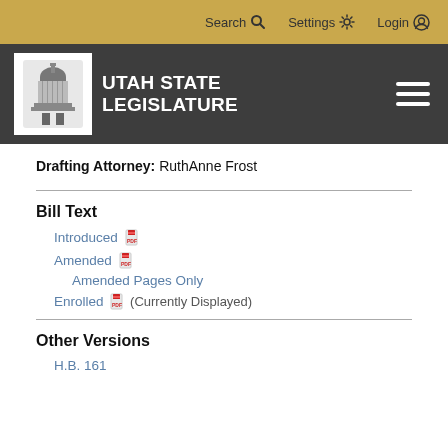Search  Settings  Login
[Figure (logo): Utah State Legislature logo with capitol building icon and white text on dark background]
Drafting Attorney: RuthAnne Frost
Bill Text
Introduced [PDF icon]
Amended [PDF icon]
Amended Pages Only
Enrolled [PDF icon] (Currently Displayed)
Other Versions
H.B. 161